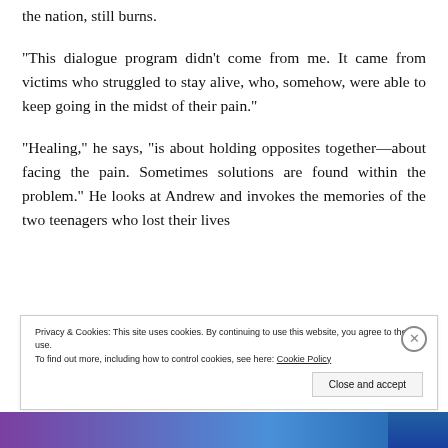the nation, still burns.
“This dialogue program didn’t come from me. It came from victims who struggled to stay alive, who, somehow, were able to keep going in the midst of their pain.”
“Healing,” he says, “is about holding opposites together—about facing the pain. Sometimes solutions are found within the problem.” He looks at Andrew and invokes the memories of the two teenagers who lost their lives
Privacy & Cookies: This site uses cookies. By continuing to use this website, you agree to their use.
To find out more, including how to control cookies, see here: Cookie Policy
Close and accept